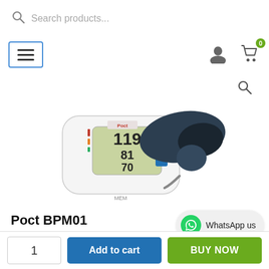Search products...
[Figure (screenshot): Navigation bar with hamburger menu button (three horizontal lines in blue-bordered box), user icon, and shopping cart icon with green badge showing 0]
[Figure (photo): Poct BPM01 blood pressure monitor device - white upper arm blood pressure cuff device with digital display showing 119/81/70 readings and dark navy blue arm cuff wrapped around it]
Poct BPM01
[Figure (other): WhatsApp us button - rounded pill button with green WhatsApp circle icon and text 'WhatsApp us']
1
Add to cart
BUY NOW